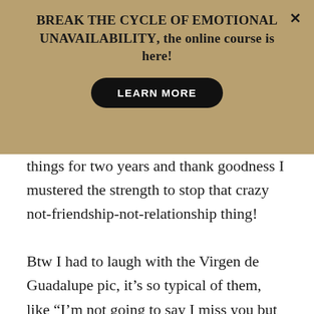BREAK THE CYCLE OF EMOTIONAL UNAVAILABILITY, the online course is here!
LEARN MORE
things for two years and thank goodness I mustered the strength to stop that crazy not-friendship-not-relationship thing!

Btw I had to laugh with the Virgen de Guadalupe pic, it's so typical of them, like “I’m not going to say I miss you but you